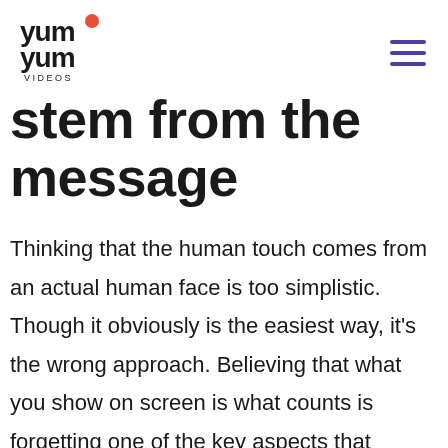Yum Yum Videos
stem from the message
Thinking that the human touch comes from an actual human face is too simplistic. Though it obviously is the easiest way, it's the wrong approach. Believing that what you show on screen is what counts is forgetting one of the key aspects that make companies feel 'human' – the